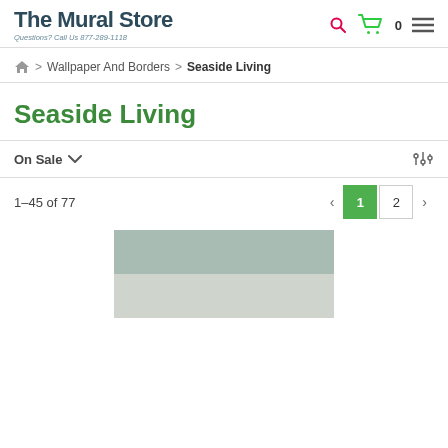The Mural Store — Questions? Call Us 877-289-1118
Home > Wallpaper And Borders > Seaside Living
Seaside Living
On Sale ∨
1–45 of 77
[Figure (photo): Product image showing a two-tone wallpaper sample with sage green top stripe and light grey/white bottom section]